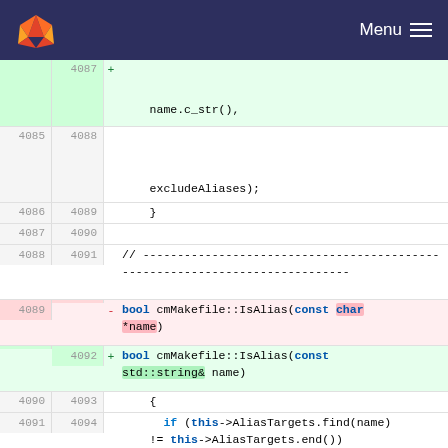GitLab Menu
Diff view of cmMakefile code change: IsAlias function signature from (const char *name) to (const std::string& name)
4087 +   name.c_str(),
4085 4088   excludeAliases);
4086 4089   }
4087 4090
4088 4091   // ---...---
4089 - bool cmMakefile::IsAlias(const char *name)
4092 + bool cmMakefile::IsAlias(const std::string& name)
4090 4093   {
4091 4094     if (this->AliasTargets.find(name) != this->AliasTargets.end())
4092 4095       return true;
4093 - return this->GetLocalGenerator()-